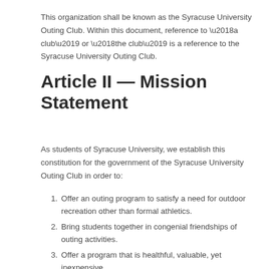This organization shall be known as the Syracuse University Outing Club. Within this document, reference to ‘a club’ or ‘the club’ is a reference to the Syracuse University Outing Club.
Article II — Mission Statement
As students of Syracuse University, we establish this constitution for the government of the Syracuse University Outing Club in order to:
Offer an outing program to satisfy a need for outdoor recreation other than formal athletics.
Bring students together in congenial friendships of outing activities.
Offer a program that is healthful, valuable, yet inexpensive.
Build certain fine and integral traditions at Syracuse.